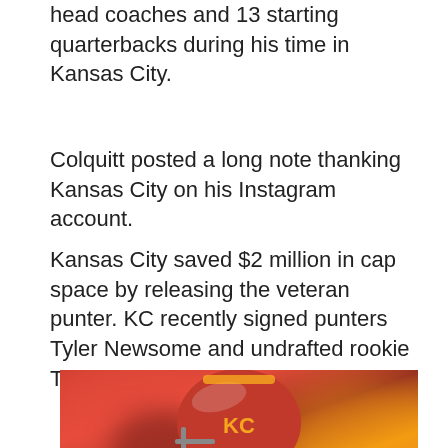head coaches and 13 starting quarterbacks during his time in Kansas City.
Colquitt posted a long note thanking Kansas City on his Instagram account.
Kansas City saved $2 million in cap space by releasing the veteran punter. KC recently signed punters Tyler Newsome and undrafted rookie Tommy Townsend.
[Figure (photo): Photo of a Kansas City Chiefs football player wearing a red helmet and red jersey, shown from roughly chin level up, with a blurred crowd/stadium background in orange and red tones.]